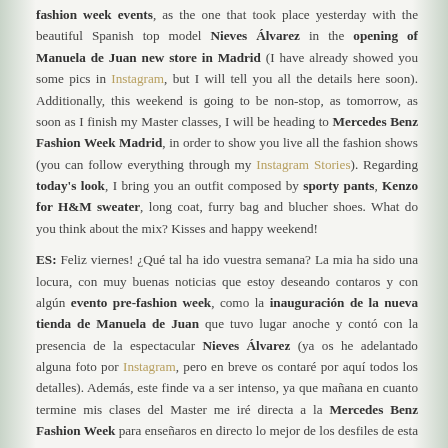fashion week events, as the one that took place yesterday with the beautiful Spanish top model Nieves Álvarez in the opening of Manuela de Juan new store in Madrid (I have already showed you some pics in Instagram, but I will tell you all the details here soon). Additionally, this weekend is going to be non-stop, as tomorrow, as soon as I finish my Master classes, I will be heading to Mercedes Benz Fashion Week Madrid, in order to show you live all the fashion shows (you can follow everything through my Instagram Stories). Regarding today's look, I bring you an outfit composed by sporty pants, Kenzo for H&M sweater, long coat, furry bag and blucher shoes. What do you think about the mix? Kisses and happy weekend!
ES: Feliz viernes! ¿Qué tal ha ido vuestra semana? La mia ha sido una locura, con muy buenas noticias que estoy deseando contaros y con algún evento pre-fashion week, como la inauguración de la nueva tienda de Manuela de Juan que tuvo lugar anoche y contó con la presencia de la espectacular Nieves Álvarez (ya os he adelantado alguna foto por Instagram, pero en breve os contaré por aquí todos los detalles). Además, este finde va a ser intenso, ya que mañana en cuanto termine mis clases del Master me iré directa a la Mercedes Benz Fashion Week para enseñaros en directo lo mejor de los desfiles de esta nueva edición de la semana de la moda de Madrid (podéis